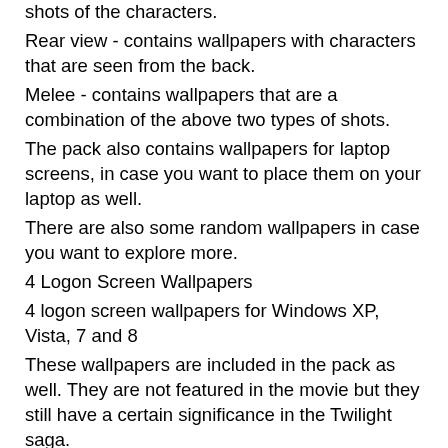shots of the characters.
Rear view - contains wallpapers with characters that are seen from the back.
Melee - contains wallpapers that are a combination of the above two types of shots.
The pack also contains wallpapers for laptop screens, in case you want to place them on your laptop as well.
There are also some random wallpapers in case you want to explore more.
4 Logon Screen Wallpapers
4 logon screen wallpapers for Windows XP, Vista, 7 and 8
These wallpapers are included in the pack as well. They are not featured in the movie but they still have a certain significance in the Twilight saga.
You can use these wallpapers in the desktop image background, in the logon screen, as well as in any other screen.
Personal Wallpapers
Personal wallpapers for your desktop in